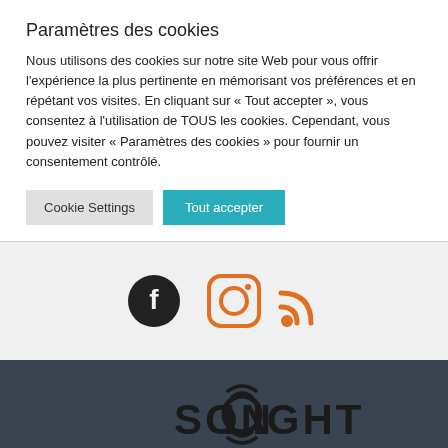Paramètres des cookies
Nous utilisons des cookies sur notre site Web pour vous offrir l'expérience la plus pertinente en mémorisant vos préférences et en répétant vos visites. En cliquant sur « Tout accepter », vous consentez à l'utilisation de TOUS les cookies. Cependant, vous pouvez visiter « Paramètres des cookies » pour fournir un consentement contrôlé.
Cookie Settings | Tout accepter
[Figure (infographic): Social media icons: Facebook (dark circle with f), Instagram (orange camera icon), RSS feed (orange wifi/rss icon)]
[Figure (logo): Sonolight logo in dark/black text on dark grey background]